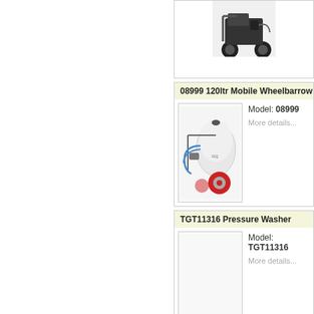[Figure (photo): Partial view of a product image (pressure washer or similar equipment) at top of page, cropped]
08999 120ltr Mobile Wheelbarrow Tank Sp
[Figure (photo): Mobile wheelbarrow tank sprayer, white tank with red wheels, model 08999]
Model: 08999
More details...
TGT11316 Pressure Washer
[Figure (photo): Blank image placeholder for TGT11316 pressure washer]
Model: TGT11316
More details...
TGT11356 Pressure Washer
[Figure (photo): Blank image placeholder for TGT11356 pressure washer]
Model: TGT11356
More details...